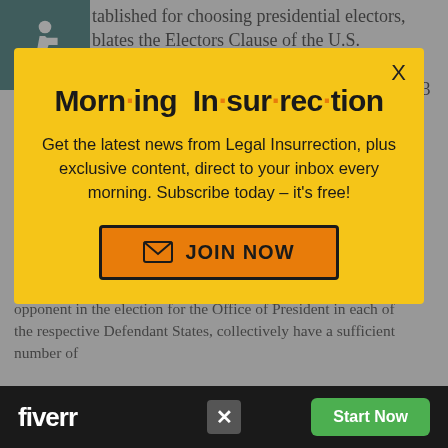tablished for choosing presidential electors, blates the Electors Clause of the U.S. Constitution and thus this matter arises under federal law. See Bush v Gore, 531 U.S. 98, 113
[Figure (infographic): Morning Insurrection newsletter subscription popup modal with yellow background. Title reads 'Morn·ing In·sur·rec·tion' in bold with orange dots. Body text: 'Get the latest news from Legal Insurrection, plus exclusive content, direct to your inbox every morning. Subscribe today – it's free!' with an orange 'JOIN NOW' button with envelope icon.]
opponent in the election for the Office of President in each of the respective Defendant States, collectively have a sufficient number of
[Figure (infographic): Fiverr advertisement banner at the bottom with dark background, Fiverr logo in white, an X close button, and a green 'Start Now' button.]